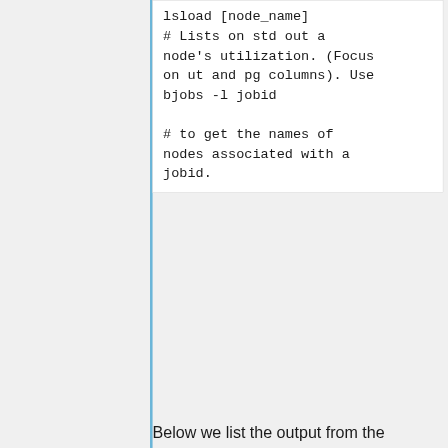[Figure (screenshot): Code block showing lsload command and comments about node utilization]
Below we list the output from the homemade shell script, node_use, based on lsload, which uses as input the jobid. The 6 nodes attached to job 260291 exhibit fairly uneven usage (ut column): the first three nodes versus the bottom three. Any non-zero values for the pg column would also have been a point of concern. It would signify potential memory paging issues with consequent slowdowns.